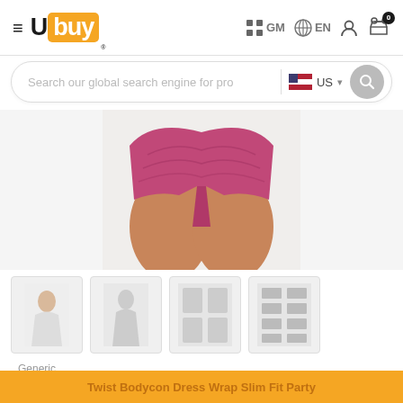[Figure (screenshot): Ubuy e-commerce website header with hamburger menu, Ubuy logo, GM flag icon, EN language selector, user account icon, and shopping cart with 0 items badge]
[Figure (screenshot): Search bar with placeholder text 'Search our global search engine for pro', US flag and dropdown, and grey search button]
[Figure (photo): Product image showing lower body of woman wearing pink/magenta shorts or mini dress]
[Figure (photo): Four product thumbnail images in a horizontal strip showing different views of the dress]
Generic
Acelitt Women's Sleeveless Hollow Out Twist Bodycon Dress Wrap Slim Fit Party Evening Dresses